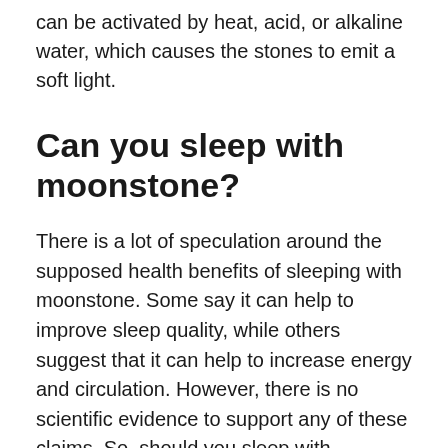can be activated by heat, acid, or alkaline water, which causes the stones to emit a soft light.
Can you sleep with moonstone?
There is a lot of speculation around the supposed health benefits of sleeping with moonstone. Some say it can help to improve sleep quality, while others suggest that it can help to increase energy and circulation. However, there is no scientific evidence to support any of these claims. So, should you sleep with moonstone? The answer is unclear.